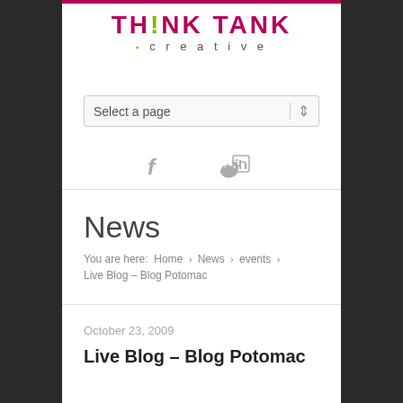[Figure (logo): Think Tank Creative logo with pink/crimson text and olive green exclamation mark and square]
[Figure (screenshot): Navigation dropdown selector reading 'Select a page']
[Figure (infographic): Social media icons: Facebook, Twitter, LinkedIn in gray]
News
You are here: Home > News > events > Live Blog – Blog Potomac
October 23, 2009
Live Blog – Blog Potomac